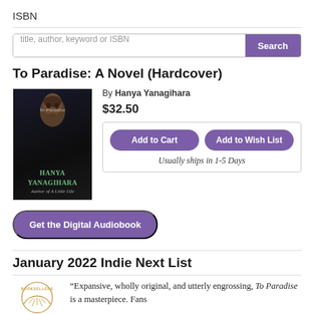ISBN
title, author, keyword or ISBN
To Paradise: A Novel (Hardcover)
By Hanya Yanagihara
$32.50
Add to Cart
Add to Wish List
Usually ships in 1-5 Days
[Figure (illustration): Book cover of 'To Paradise' by Hanya Yanagihara, dark background with a face portrait and green author name text]
Get the Digital Audiobook
January 2022 Indie Next List
“Expansive, wholly original, and utterly engrossing, To Paradise is a masterpiece. Fans